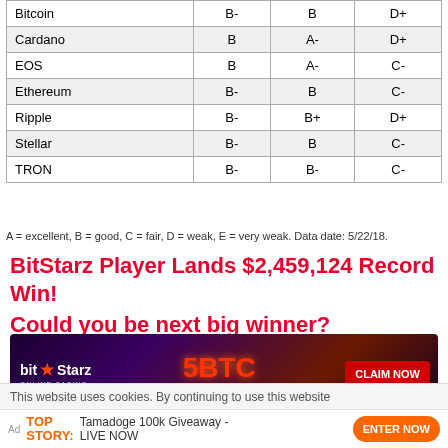|  | Weiss Rating | Adoption | Risk & Reward |
| --- | --- | --- | --- |
| Bitcoin | B- | B | D+ |
| Cardano | B | A- | D+ |
| EOS | B | A- | C- |
| Ethereum | B- | B | C- |
| Ripple | B- | B+ | D+ |
| Stellar | B- | B | C- |
| TRON | B- | B- | C- |
A = excellent, B = good, C = fair, D = weak, E = very weak. Data date: 5/22/18.
BitStarz Player Lands $2,459,124 Record Win! Could you be next big winner?
[Figure (advertisement): BitStarz Online Casino banner ad showing 5BTC +200 FREE SPINS with CLAIM NOW button]
Get 110 USDT Futures Bonus for FREE!
This website uses cookies. By continuing to use this website
Ad TOP STORY: Tamadoge 100k Giveaway - LIVE NOW ENTER NOW